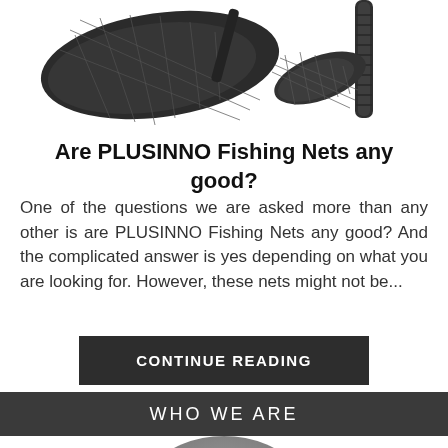[Figure (photo): Two fishing nets with black mesh and handles shown from different angles against a white background]
Are PLUSINNO Fishing Nets any good?
One of the questions we are asked more than any other is are PLUSINNO Fishing Nets any good? And the complicated answer is yes depending on what you are looking for. However, these nets might not be...
CONTINUE READING
WHO WE ARE
[Figure (photo): Circular cropped photo showing a grey/silver circular object, partially visible at the bottom of the page]